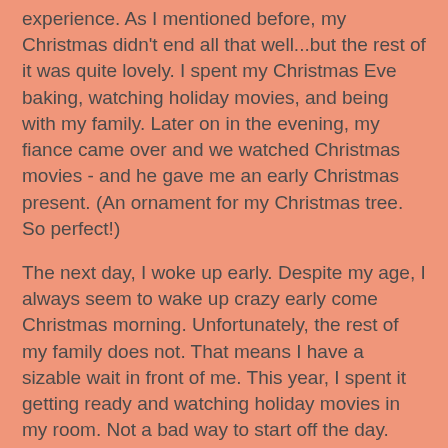experience. As I mentioned before, my Christmas didn't end all that well...but the rest of it was quite lovely. I spent my Christmas Eve baking, watching holiday movies, and being with my family. Later on in the evening, my fiance came over and we watched Christmas movies - and he gave me an early Christmas present. (An ornament for my Christmas tree. So perfect!)
The next day, I woke up early. Despite my age, I always seem to wake up crazy early come Christmas morning. Unfortunately, the rest of my family does not. That means I have a sizable wait in front of me. This year, I spent it getting ready and watching holiday movies in my room. Not a bad way to start off the day. Later on, I went downstairs and we turned on the trees and decorations in preparation for my sisters arrival. Then we opened our stockings, exchanged gifts, and watched more holiday movies! My dad made us all breakfast and then my fiance came over so we could exchange gifts and spend a little time together.
So, that was my Christmas in a nutshell! Even though I ended up being sick, I had a lovely holiday with the people I